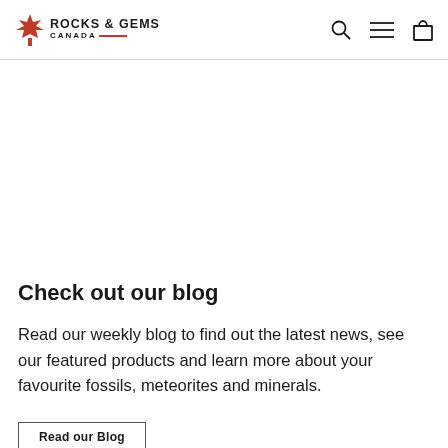ROCKS & GEMS CANADA
Check out our blog
Read our weekly blog to find out the latest news, see our featured products and learn more about your favourite fossils, meteorites and minerals.
Read our Blog